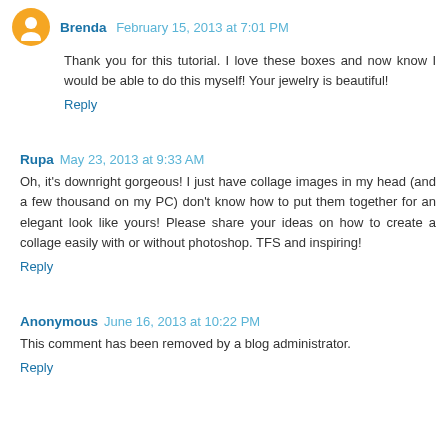Brenda  February 15, 2013 at 7:01 PM
Thank you for this tutorial. I love these boxes and now know I would be able to do this myself! Your jewelry is beautiful!
Reply
Rupa  May 23, 2013 at 9:33 AM
Oh, it's downright gorgeous! I just have collage images in my head (and a few thousand on my PC) don't know how to put them together for an elegant look like yours! Please share your ideas on how to create a collage easily with or without photoshop. TFS and inspiring!
Reply
Anonymous  June 16, 2013 at 10:22 PM
This comment has been removed by a blog administrator.
Reply